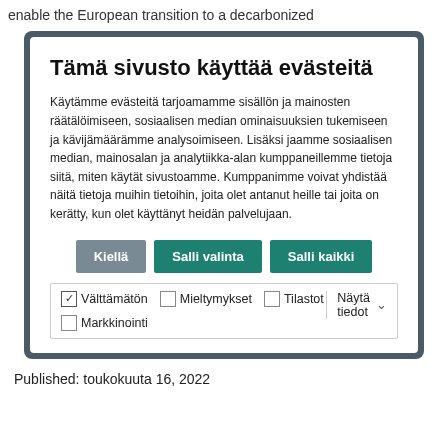enable the European transition to a decarbonized
[Figure (screenshot): Cookie consent modal dialog in Finnish language with title 'Tämä sivusto käyttää evästeitä', description text, three buttons (Kiellä, Salli valinta, Salli kaikki), and checkboxes for cookie categories (Välttämätön, Mieltymykset, Tilastot, Markkinointi) with a 'Näytä tiedot' dropdown.]
Published: toukokuuta 16, 2022